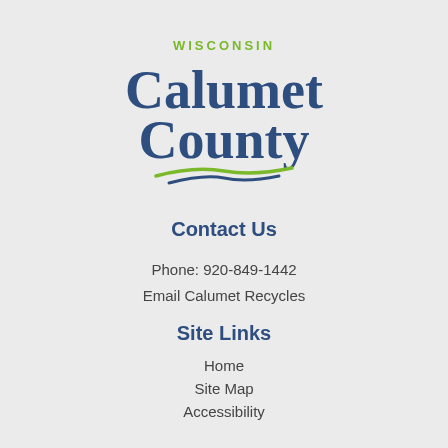[Figure (logo): Wisconsin Calumet County logo with dark blue serif text and green swoosh underline]
Contact Us
Phone: 920-849-1442
Email Calumet Recycles
Site Links
Home
Site Map
Accessibility